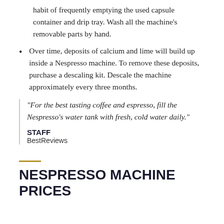habit of frequently emptying the used capsule container and drip tray. Wash all the machine's removable parts by hand.
Over time, deposits of calcium and lime will build up inside a Nespresso machine. To remove these deposits, purchase a descaling kit. Descale the machine approximately every three months.
"For the best tasting coffee and espresso, fill the Nespresso's water tank with fresh, cold water daily."
STAFF
BestReviews
NESPRESSO MACHINE PRICES